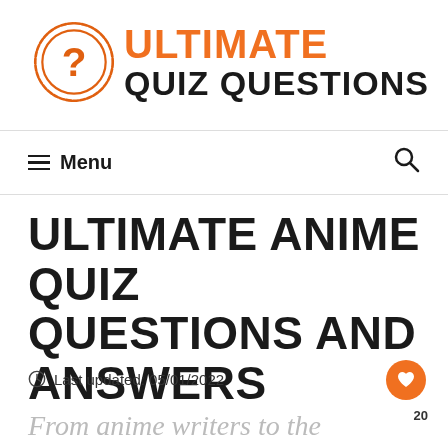[Figure (logo): Ultimate Quiz Questions logo with orange circle containing a question mark and bold text: ULTIMATE in orange, QUIZ QUESTIONS in black]
≡ Menu
ULTIMATE ANIME QUIZ QUESTIONS AND ANSWERS
Last updated: 05/01/2022
From anime writers to the